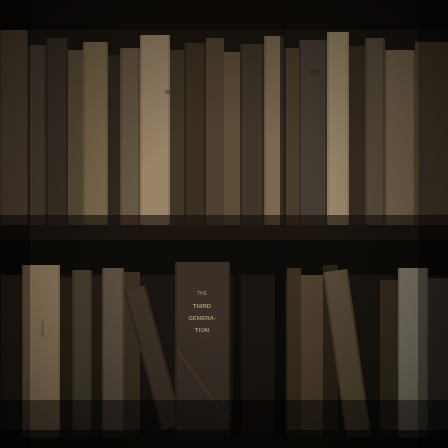[Figure (photo): A dark, low-light photograph of bookshelves filled with books. The image shows two rows of books on shelves. The top row contains numerous books of varying widths and colors, though all appear dark due to low lighting. The bottom row shows more books including one with partially legible text that appears to read 'THE THIRD GENERATION' or similar. The overall image is very dark with a brownish-black tone, giving the appearance of a dimly lit library or study.]